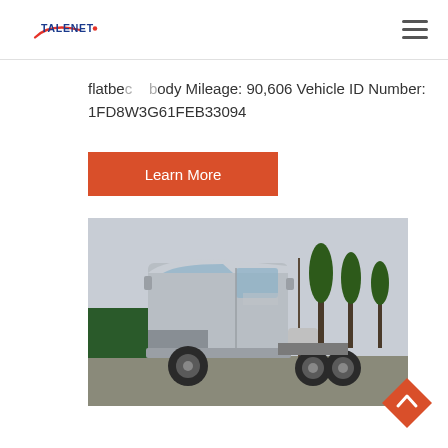TALENET (logo) with hamburger menu
flatbed body Mileage: 90,606 Vehicle ID Number: 1FD8W3G61FEB33094
Learn More
[Figure (photo): Silver semi truck / tractor unit parked in a lot, side view, with green trucks and trees visible in background.]